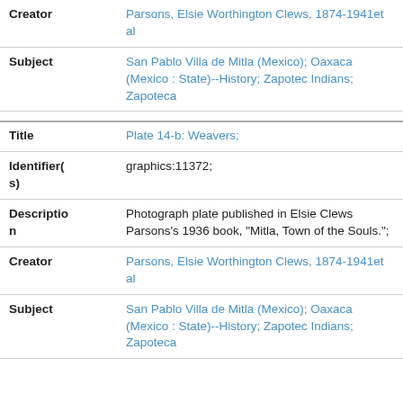| Creator | Parsons, Elsie Worthington Clews, 1874-1941et al |
| Subject | San Pablo Villa de Mitla (Mexico); Oaxaca (Mexico : State)--History; Zapotec Indians; Zapoteca |
| Title | Plate 14-b: Weavers; |
| Identifier(s) | graphics:11372; |
| Description | Photograph plate published in Elsie Clews Parsons's 1936 book, "Mitla, Town of the Souls."; |
| Creator | Parsons, Elsie Worthington Clews, 1874-1941et al |
| Subject | San Pablo Villa de Mitla (Mexico); Oaxaca (Mexico : State)--History; Zapotec Indians; Zapoteca |